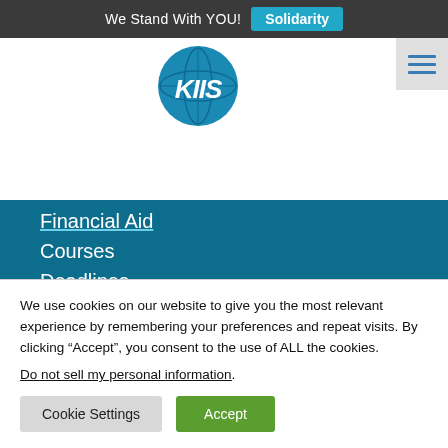We Stand With YOU! Solidarity
[Figure (logo): KIIS circular logo with blue globe background and white italic KIIS text]
Financial Aid
Courses
Deadlines
Health & Wellness
Alumni
KIIS Blog
We use cookies on our website to give you the most relevant experience by remembering your preferences and repeat visits. By clicking “Accept”, you consent to the use of ALL the cookies.
Do not sell my personal information.